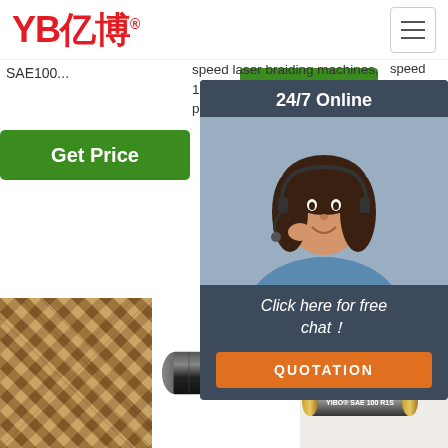YB亿博® — navigation header with hamburger menu
SAE100...
Get Price
speed laser braiding machines. 15 high-speed braiding steel wire pro... PVC pro...
Get Price
[Figure (screenshot): 24/7 Online chat popup with customer service representative photo, 'Click here for free chat!' text, and orange QUOTATION button]
G
[Figure (photo): Braided hose with golden/brown wire mesh texture]
[Figure (photo): YIBO Steam Hose black rubber hose product photo with white text label]
[Figure (photo): YIBO SAE 100 R1S hydraulic hose with brass fittings, two hoses stacked, with TOP logo]